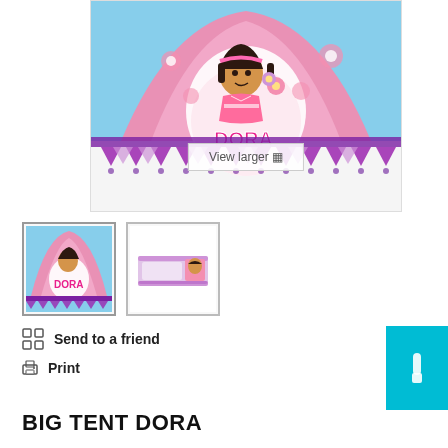[Figure (photo): Pink Dora the Explorer children's play tent with Dora character graphic and floral pattern, with purple triangle bunting at the base. 'View larger' overlay button visible at bottom center.]
[Figure (photo): Thumbnail 1: Pink Dora tent front view (selected/active)]
[Figure (photo): Thumbnail 2: Dora tent in box/packaging, side view]
Send to a friend
Print
BIG TENT DORA